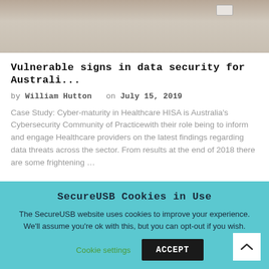[Figure (photo): Close-up photograph of white fabric or clothing with a label tag visible]
Vulnerable signs in data security for Australi...
by William Hutton  on July 15, 2019
Case Study: Cyber-maturity in Healthcare HISA is Australia's Cybersecurity Community of Practicewith their role being to inform and engage Healthcare providers on the latest findings regarding data threats across the sector. From results at the end of 2018 there are some frightening …
SecureUSB Cookies in Use
The SecureUSB website uses cookies to improve your experience. We'll assume you're ok with this, but you can opt-out if you wish.
Cookie settings   ACCEPT